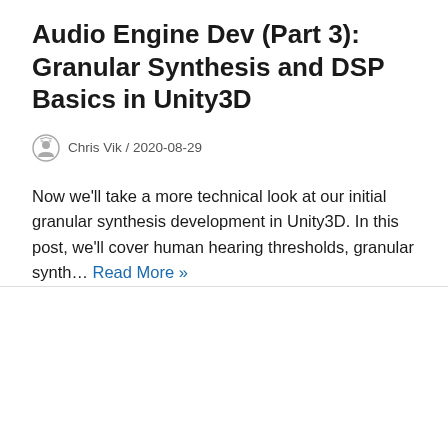Audio Engine Dev (Part 3): Granular Synthesis and DSP Basics in Unity3D
Chris Vik / 2020-08-29
Now we'll take a more technical look at our initial granular synthesis development in Unity3D. In this post, we'll cover human hearing thresholds, granular synth… Read More »